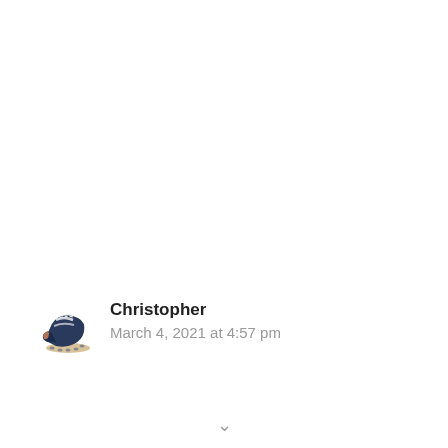[Figure (illustration): Small avatar image of a black and brown soccer/football cleat shoe, used as a user avatar]
Christopher
March 4, 2021 at 4:57 pm